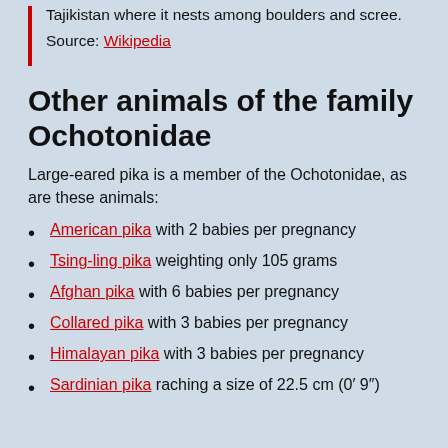Tajikistan where it nests among boulders and scree.
Source: Wikipedia
Other animals of the family Ochotonidae
Large-eared pika is a member of the Ochotonidae, as are these animals:
American pika with 2 babies per pregnancy
Tsing-ling pika weighting only 105 grams
Afghan pika with 6 babies per pregnancy
Collared pika with 3 babies per pregnancy
Himalayan pika with 3 babies per pregnancy
Sardinian pika raching a size of 22.5 cm (0′ 9″)